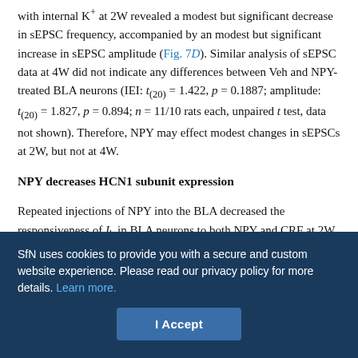with internal K+ at 2W revealed a modest but significant decrease in sEPSC frequency, accompanied by an modest but significant increase in sEPSC amplitude (Fig. 7D). Similar analysis of sEPSC data at 4W did not indicate any differences between Veh and NPY-treated BLA neurons (IEI: t(20) = 1.422, p = 0.1887; amplitude: t(20) = 1.827, p = 0.894; n = 11/10 rats each, unpaired t test, data not shown). Therefore, NPY may effect modest changes in sEPSCs at 2W, but not at 4W.
NPY decreases HCN1 subunit expression
Repeated injections of NPY into the BLA decreased the responsiveness of Ih in BLA neurons to both NPY and CRF at 2W and significantly attenuated Ih at 4W after injection. To determine the
SfN uses cookies to provide you with a secure and custom website experience. Please read our privacy policy for more details. Learn more.